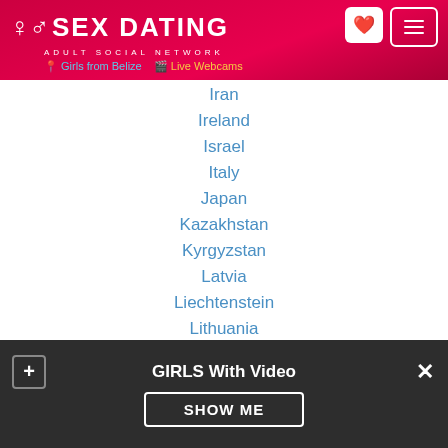SEX DATING ADULT SOCIAL NETWORK — Girls from Belize | Live Webcams
Iran
Ireland
Israel
Italy
Japan
Kazakhstan
Kyrgyzstan
Latvia
Liechtenstein
Lithuania
Luxembourg
Macedonia
Mexico
GIRLS With Video — SHOW ME